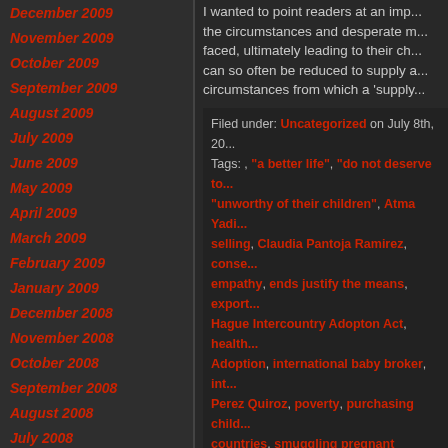December 2009
November 2009
October 2009
September 2009
August 2009
July 2009
June 2009
May 2009
April 2009
March 2009
February 2009
January 2009
December 2008
November 2008
October 2008
September 2008
August 2008
July 2008
June 2008
May 2008
April 2008
March 2008
I wanted to point readers at an imp... the circumstances and desperate m... faced, ultimately leading to their ch... can so often be reduced to supply a... circumstances from which a 'supply...
Filed under: Uncategorized on July 8th, 20... Tags: , "a better life", "do not deserve to... "unworthy of their children", Atma Yadi... selling, Claudia Pantoja Ramirez, conse... empathy, ends justify the means, export... Hague Intercountry Adopton Act, health... Adoption, international baby broker, int... Perez Quiroz, poverty, purchasing child... countries, smuggling pregnant womyn,... the adoption market, wealth, womb serv...
2 Comments »
NEWS- "INTERNATIONAL ADO... DREAMS"
I wanted to point readers at an artic... International adoptions lead to brok... uses the backdrop of the Lisa Nova... about broader trends in international... adoption industry, and contains a n...